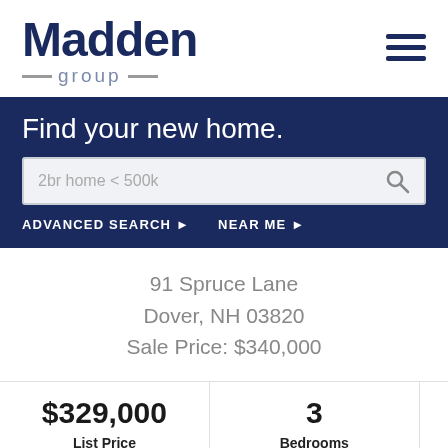[Figure (logo): Madden Group logo with dark navy bold 'Madden' text and gray 'group' text with dashes on each side]
Find your new home.
2br home < 500k
ADVANCED SEARCH ▶
NEAR ME ▶
91 Spruce Lane
Dover, NH 03820
Sale Price: $340,000
| List Price | Bedrooms |
| --- | --- |
| $329,000 | 3 |